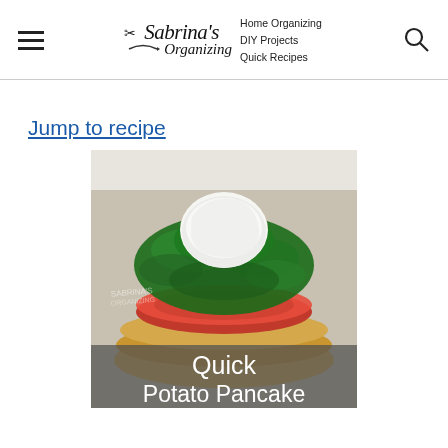Sabrina's Organizing | Home Organizing | DIY Projects | Quick Recipes
Jump to recipe
[Figure (photo): A stack of potato pancakes topped with a sliced tomato, sauteed spinach, and a poached egg on top, with text overlay reading 'Quick Potato Pancake']
Quick Potato Pancake